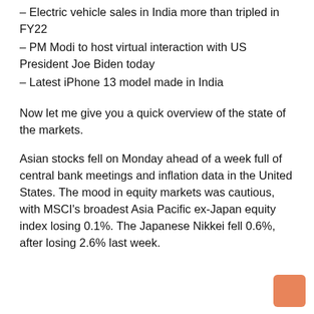– Electric vehicle sales in India more than tripled in FY22
– PM Modi to host virtual interaction with US President Joe Biden today
– Latest iPhone 13 model made in India
Now let me give you a quick overview of the state of the markets.
Asian stocks fell on Monday ahead of a week full of central bank meetings and inflation data in the United States. The mood in equity markets was cautious, with MSCI's broadest Asia Pacific ex-Japan equity index losing 0.1%. The Japanese Nikkei fell 0.6%, after losing 2.6% last week.